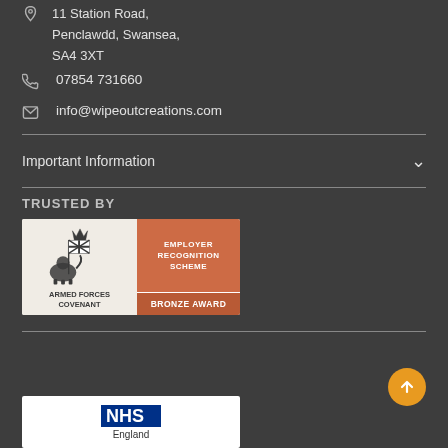11 Station Road, Penclawdd, Swansea, SA4 3XT
07854 731660
info@wipeoutcreations.com
Important Information
TRUSTED BY
[Figure (logo): Armed Forces Covenant - Employer Recognition Scheme - Bronze Award badge]
[Figure (logo): NHS England logo]